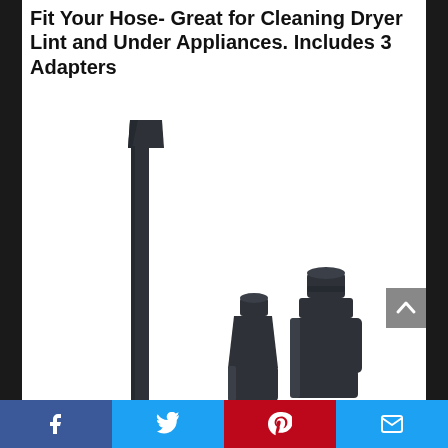Fit Your Hose- Great for Cleaning Dryer Lint and Under Appliances. Includes 3 Adapters
[Figure (photo): Product photo showing three dark grey/black vacuum hose adapter tools on white background: one long flat crevice tool and two cone/stepped adapter fittings of different sizes]
Facebook | Twitter | Pinterest | Email